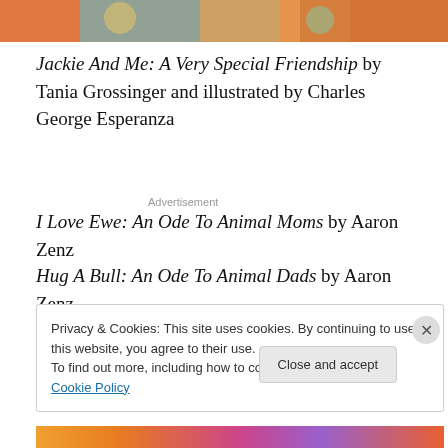[Figure (illustration): Top portion of a colorful illustrated book cover showing cartoon characters]
Jackie And Me: A Very Special Friendship by Tania Grossinger and illustrated by Charles George Esperanza
Advertisement
I Love Ewe: An Ode To Animal Moms by Aaron Zenz
Hug A Bull: An Ode To Animal Dads by Aaron Zenz
Privacy & Cookies: This site uses cookies. By continuing to use this website, you agree to their use.
To find out more, including how to control cookies, see here: Cookie Policy
Close and accept